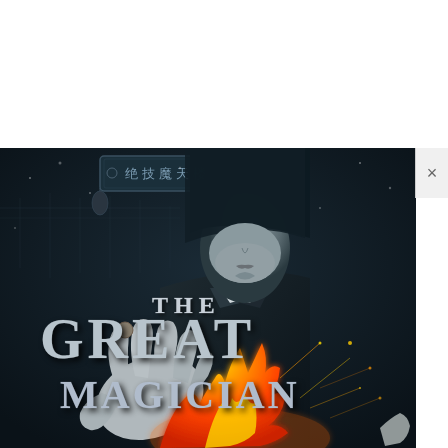[Figure (photo): Movie poster for 'The Great Magician' showing a man in a dark suit and bow tie with a hood/hat covering the top of his face, holding a coin with fire flames and golden sparks at the bottom. Chinese characters visible in the background at top left. The image is dark and dramatic with teal/dark blue tones.]